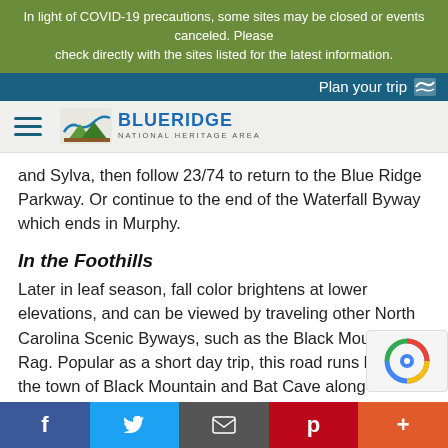In light of COVID-19 precautions, some sites may be closed or events canceled. Please check directly with the sites listed for the latest information.
Plan your trip
[Figure (logo): Blue Ridge National Heritage Area logo with hamburger menu icon]
and Sylva, then follow 23/74 to return to the Blue Ridge Parkway. Or continue to the end of the Waterfall Byway which ends in Murphy.
In the Foothills
Later in leaf season, fall color brightens at lower elevations, and can be viewed by traveling other North Carolina Scenic Byways, such as the Black Mountain Rag. Popular as a short day trip, this road runs between the town of Black Mountain and Bat Cave along the curving, winding NC Highway 9. Bat Cave is named for a nearby cave that is habitat for the rare and endangered Indiana bat.
A visit to Hickory Nut Gorge, Chimney Rock and Lake L…
f  t  [email]  p  +